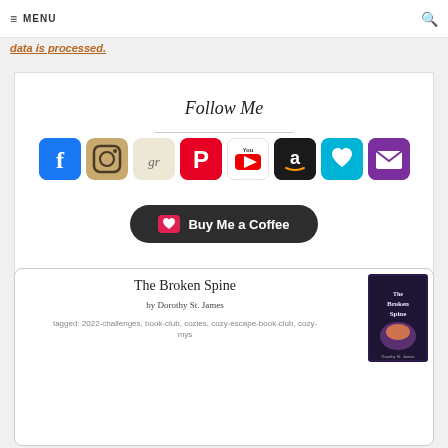≡ MENU  🔍
data is processed.
Follow Me
[Figure (infographic): Row of 8 social media icons: Facebook, Instagram, Goodreads, Pinterest, YouTube, Amazon, Bloglovin, Email]
[Figure (infographic): Buy Me a Coffee dark pill-shaped button with heart icon]
The Broken Spine
by Dorothy St. James
tagged: 2022-challenges, book-club, cozies, cozy-escape-book-club, cozy-mys